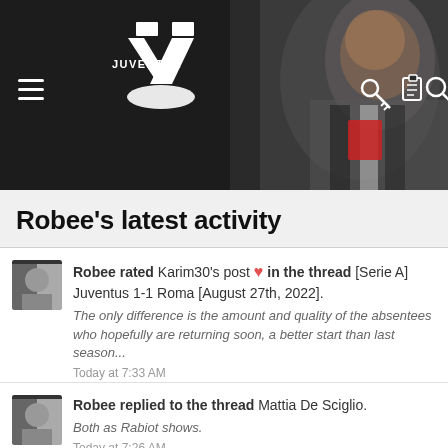[Figure (screenshot): Juventuz forum website header banner with logo, hamburger menu, and a blurred photo of a footballer in black and white Juventus kit]
Robee's latest activity
Robee rated Karim30's post ❤ in the thread [Serie A] Juventus 1-1 Roma [August 27th, 2022]. The only difference is the amount and quality of the absentees who hopefully are returning soon, a better start than last season... Today at 7:33 AM
Robee replied to the thread Mattia De Sciglio. Both as Rabiot shows. Today at 7:26 AM